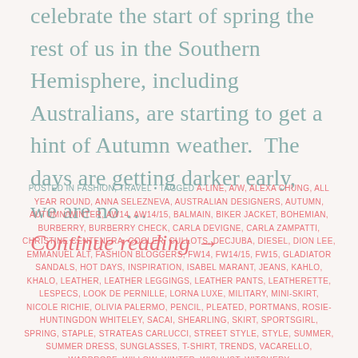celebrate the start of spring the rest of us in the Southern Hemisphere, including Australians, are starting to get a hint of Autumn weather.  The days are getting darker early, we are no … Continue reading →
POSTED IN FASHION, TRAVEL • TAGGED A-LINE, A/W, ALEXA CHUNG, ALL YEAR ROUND, ANNA SELEZNEVA, AUSTRALIAN DESIGNERS, AUTUMN, AUTUMN/WINTER, AW14, AW14/15, BALMAIN, BIKER JACKET, BOHEMIAN, BURBERRY, BURBERRY CHECK, CARLA DEVIGNE, CARLA ZAMPATTI, CHRISTINE CENTENERA, COOLER, CULLOTS, DECJUBA, DIESEL, DION LEE, EMMANUEL ALT, FASHION BLOGGERS, FW14, FW14/15, FW15, GLADIATOR SANDALS, HOT DAYS, INSPIRATION, ISABEL MARANT, JEANS, KAHLO, KHALO, LEATHER, LEATHER LEGGINGS, LEATHER PANTS, LEATHERETTE, LESPECS, LOOK DE PERNILLE, LORNA LUXE, MILITARY, MINI-SKIRT, NICOLE RICHIE, OLIVIA PALERMO, PENCIL, PLEATED, PORTMANS, ROSIE-HUNTINGDON WHITELEY, SACAI, SHEARLING, SKIRT, SPORTSGIRL, SPRING, STAPLE, STRATEAS CARLUCCI, STREET STYLE, STYLE, SUMMER, SUMMER DRESS, SUNGLASSES, T-SHIRT, TRENDS, VACARELLO, WARDROBE, WILLOW, WINTER, WISHLIST, WITCHERY